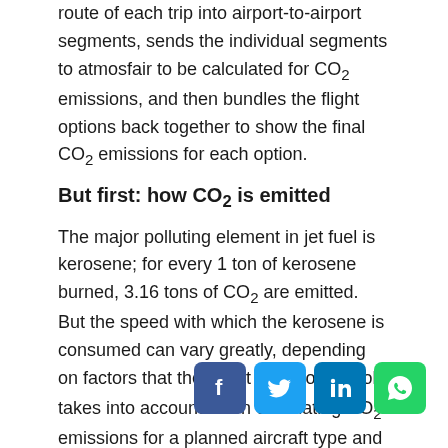route of each trip into airport-to-airport segments, sends the individual segments to atmosfair to be calculated for CO₂ emissions, and then bundles the flight options back together to show the final CO₂ emissions for each option.
But first: how CO₂ is emitted
The major polluting element in jet fuel is kerosene; for every 1 ton of kerosene burned, 3.16 tons of CO₂ are emitted. But the speed with which the kerosene is consumed can vary greatly, depending on factors that the Least CO₂ sorter tool takes into account when calculating CO₂ emissions for a planned aircraft type and its route. Keep reading for those factors.
Aircraft type
Fuel consumption varies by the aircraft type. As